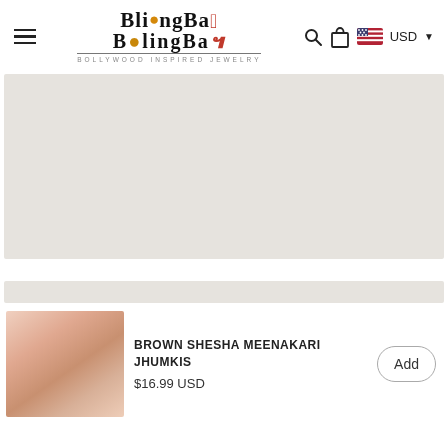BlingBag — Bollywood Inspired Jewelry
[Figure (photo): Large gray/beige placeholder product image area]
[Figure (photo): Small beige banner/strip]
[Figure (photo): Thumbnail of Brown Shesha Meenakari Jhumkis jewelry product on pink background]
BROWN SHESHA MEENAKARI JHUMKIS
$16.99 USD